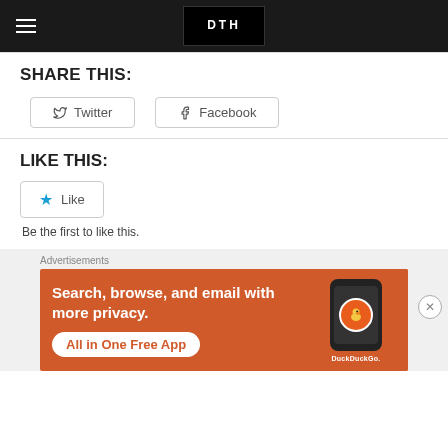Navigation header with hamburger menu and site logo
SHARE THIS:
Twitter  Facebook
LIKE THIS:
Like
Be the first to like this.
Advertisements
[Figure (infographic): DuckDuckGo advertisement banner: 'Search, browse, and email with more privacy. All in One Free App' with phone mockup showing DuckDuckGo app icon]